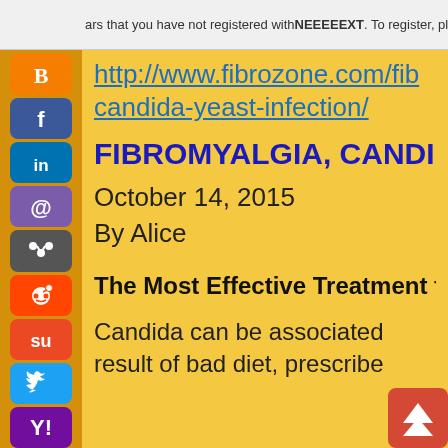ars that you have not registered with NEEEEEXT. To register, please click here...
http://www.fibrozone.com/fib... candida-yeast-infection/
FIBROMYALGIA, CANDI...
October 14, 2015
By Alice
The Most Effective Treatment fo...
Candida can be associated ... result of bad diet, prescribed...